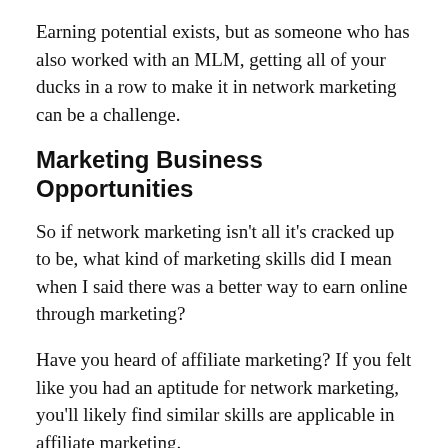Earning potential exists, but as someone who has also worked with an MLM, getting all of your ducks in a row to make it in network marketing can be a challenge.
Marketing Business Opportunities
So if network marketing isn't all it's cracked up to be, what kind of marketing skills did I mean when I said there was a better way to earn online through marketing?
Have you heard of affiliate marketing? If you felt like you had an aptitude for network marketing, you'll likely find similar skills are applicable in affiliate marketing.
Affiliate marketing does not require you to buy into